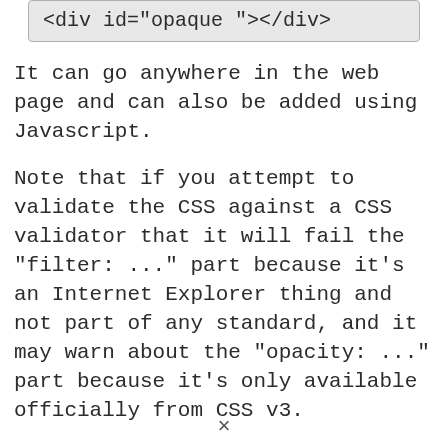<div id="opaque"></div>
It can go anywhere in the web page and can also be added using Javascript.
Note that if you attempt to validate the CSS against a CSS validator that it will fail the "filter: ..." part because it’s an Internet Explorer thing and not part of any standard, and it may warn about the "opacity: ..." part because it’s only available officially from CSS v3.
See an example of this working here and tomorrow’s post will have a more